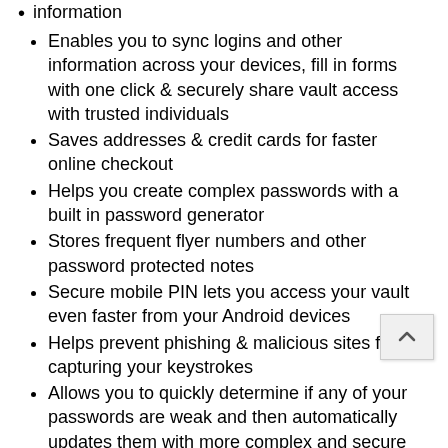information
Enables you to sync logins and other information across your devices, fill in forms with one click & securely share vault access with trusted individuals
Saves addresses & credit cards for faster online checkout
Helps you create complex passwords with a built in password generator
Stores frequent flyer numbers and other password protected notes
Secure mobile PIN lets you access your vault even faster from your Android devices
Helps prevent phishing & malicious sites from capturing your keystrokes
Allows you to quickly determine if any of your passwords are weak and then automatically updates them with more complex and secure ones
Use Norton Password Manager to store all you credentials in asecure online vault that you access with master password. Password Manager allows